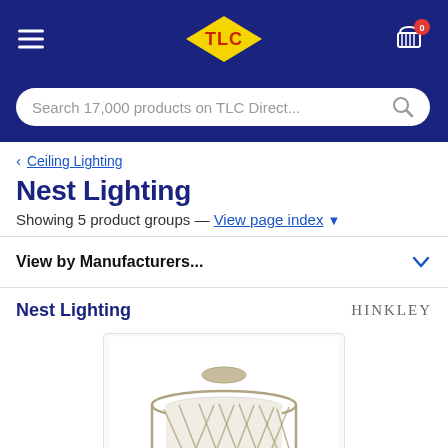[Figure (screenshot): TLC Direct website header with navy blue background, TLC logo (yellow diamond shape with red TLC text), hamburger menu icon on left, shopping cart icon with '0' badge on right]
Search 17,000 products on TLC Direct...
< Ceiling Lighting
Nest Lighting
Showing 5 product groups — View page index ▼
View by Manufacturers...
Nest Lighting
[Figure (photo): Ceiling light fixture with a cylindrical drum shade made of a geometric wire frame in silver/champagne finish with white glass diffuser inside, shown against white background]